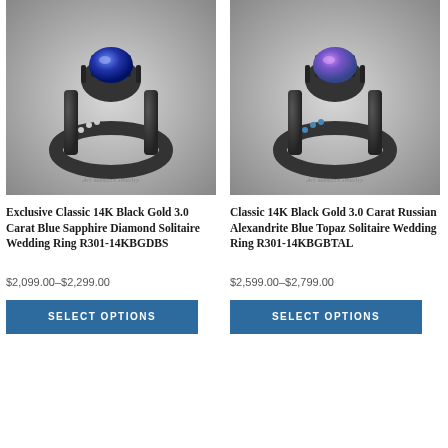[Figure (photo): Product photo of Exclusive Classic 14K Black Gold 3.0 Carat Blue Sapphire Diamond Solitaire Wedding Ring R301-14KBGDBS on grey gradient background with Art Masters Jewelry watermark]
Exclusive Classic 14K Black Gold 3.0 Carat Blue Sapphire Diamond Solitaire Wedding Ring R301-14KBGDBS
$2,099.00–$2,299.00
SELECT OPTIONS
[Figure (photo): Product photo of Classic 14K Black Gold 3.0 Carat Russian Alexandrite Blue Topaz Solitaire Wedding Ring R301-14KBGBTAL on grey gradient background with Art Masters Jewelry watermark]
Classic 14K Black Gold 3.0 Carat Russian Alexandrite Blue Topaz Solitaire Wedding Ring R301-14KBGBTAL
$2,599.00–$2,799.00
SELECT OPTIONS